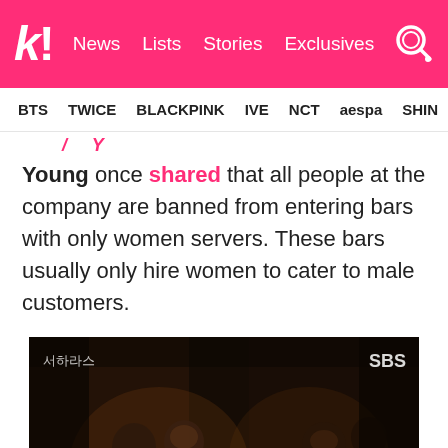k! News Lists Stories Exclusives
BTS TWICE BLACKPINK IVE NCT aespa SHIN...
Young once shared that all people at the company are banned from entering bars with only women servers. These bars usually only hire women to cater to male customers.
[Figure (screenshot): A dark scene from an SBS Korean drama showing people sitting at a table in a dimly lit bar/restaurant, with SBS watermark in the top right corner.]